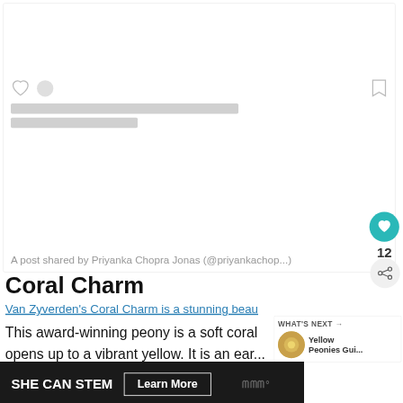[Figure (screenshot): Instagram embed card with heart, comment, bookmark icons and loading placeholder bars]
A post shared by Priyanka Chopra Jonas (@priyankachop...
Coral Charm
Van Zyverden's Coral Charm is a stunning beau
This award-winning peony is a soft coral... opens up to a vibrant yellow. It is an ear... so you will have an early spring-mass of color
[Figure (infographic): What's Next panel showing Yellow Peonies guide with flower thumbnail]
[Figure (infographic): SHE CAN STEM advertisement bar with Learn More button and wireless logo]